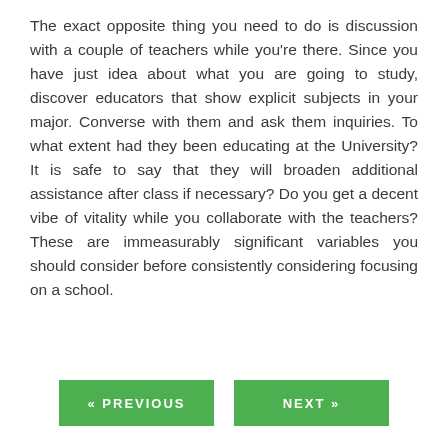The exact opposite thing you need to do is discussion with a couple of teachers while you're there. Since you have just idea about what you are going to study, discover educators that show explicit subjects in your major. Converse with them and ask them inquiries. To what extent had they been educating at the University? It is safe to say that they will broaden additional assistance after class if necessary? Do you get a decent vibe of vitality while you collaborate with the teachers? These are immeasurably significant variables you should consider before consistently considering focusing on a school.
« PREVIOUS   NEXT »